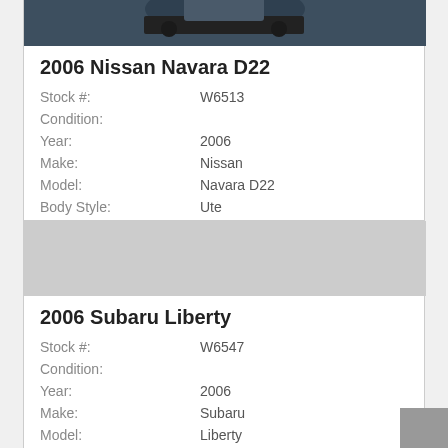[Figure (photo): Photo of 2006 Nissan Navara D22 truck, dark blue/grey vehicle from rear angle]
2006 Nissan Navara D22
| Stock #: | W6513 |
| Condition: |  |
| Year: | 2006 |
| Make: | Nissan |
| Model: | Navara D22 |
| Body Style: | Ute |
| Transmission: | 5 speed Manual |
| Mileage: | 205489 |
| Exterior Color: | Blue |
| Vin #: |  |
[Figure (photo): Photo area for 2006 Subaru Liberty, partially visible grey image]
2006 Subaru Liberty
| Stock #: | W6547 |
| Condition: |  |
| Year: | 2006 |
| Make: | Subaru |
| Model: | Liberty |
| Body Style: | Sedan |
| Transmission: | 5sp Man |
| Mileage: | 175489 |
| Exterior Color: | Silver |
| Vin #: |  |